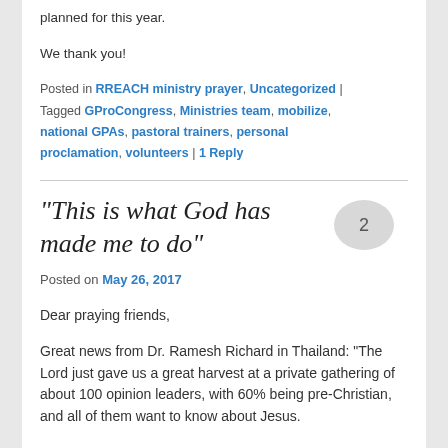planned for this year.
We thank you!
Posted in RREACH ministry prayer, Uncategorized | Tagged GProCongress, Ministries team, mobilize, national GPAs, pastoral trainers, personal proclamation, volunteers | 1 Reply
“This is what God has made me to do”
Posted on May 26, 2017
Dear praying friends,
Great news from Dr. Ramesh Richard in Thailand: “The Lord just gave us a great harvest at a private gathering of about 100 opinion leaders, with 60% being pre-Christian, and all of them want to know about Jesus.